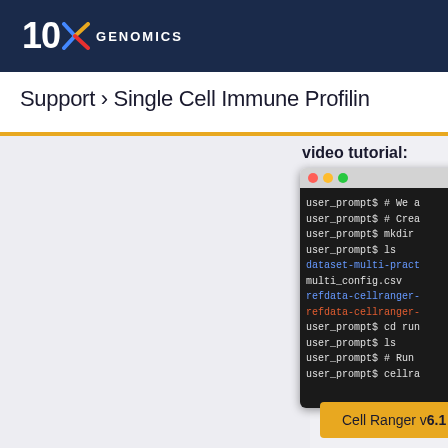10X GENOMICS
Support > Single Cell Immune Profiling
video tutorial:
[Figure (screenshot): Terminal window showing command-line session with user_prompt$ commands including mkdir, ls, cd run, and cellranger, with colored output showing dataset-multi-pract (blue), multi_config.csv (white), refdata-cellranger- (blue), refdata-cellranger- (orange)]
Cell Ranger v6.1